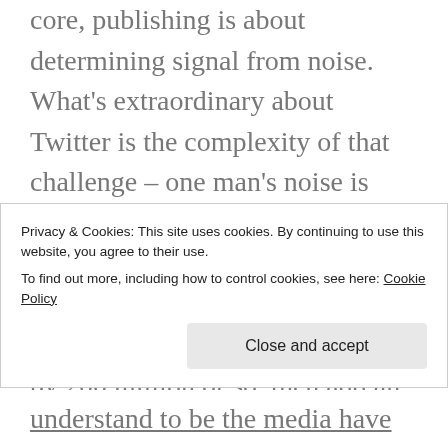core, publishing is about determining signal from noise. What's extraordinary about Twitter is the complexity of that challenge – one man's noise is another man's signal, and vice versa. And what's signal now may well be noise tomorrow – or two minutes from now. Multiply this by 200 million or so, then add an exponential element. You
Privacy & Cookies: This site uses cookies. By continuing to use this website, you agree to their use.
To find out more, including how to control cookies, see here: Cookie Policy
understand to be  the media  have